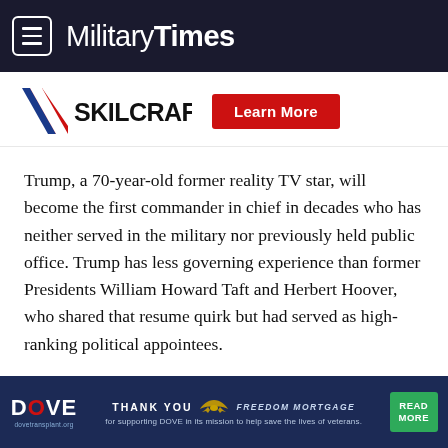Military Times
[Figure (logo): SKILCRAFT logo with diagonal red/blue stripe and Learn More button in red]
Trump, a 70-year-old former reality TV star, will become the first commander in chief in decades who has neither served in the military nor previously held public office. Trump has less governing experience than former Presidents William Howard Taft and Herbert Hoover, who shared that resume quirk but had served as high-ranking political appointees.
Trump ran on a platform of government reform and political
[Figure (infographic): DOVE transplant bottom ad banner: THANK YOU FREEDOM MORTGAGE for supporting DOVE in its mission to help save the lives of veterans. READ MORE button.]